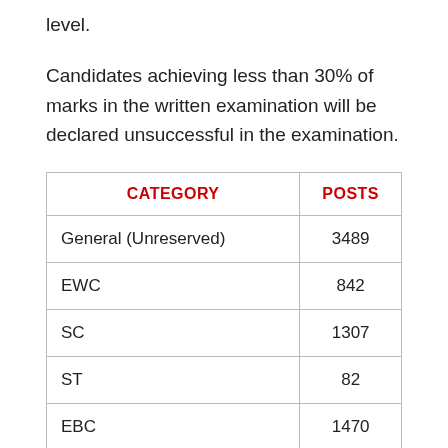level.
Candidates achieving less than 30% of marks in the written examination will be declared unsuccessful in the examination.
| CATEGORY | POSTS |
| --- | --- |
| General (Unreserved) | 3489 |
| EWC | 842 |
| SC | 1307 |
| ST | 82 |
| EBC | 1470 |